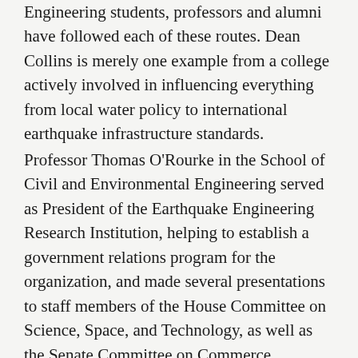Engineering students, professors and alumni have followed each of these routes. Dean Collins is merely one example from a college actively involved in influencing everything from local water policy to international earthquake infrastructure standards.
Professor Thomas O'Rourke in the School of Civil and Environmental Engineering served as President of the Earthquake Engineering Research Institution, helping to establish a government relations program for the organization, and made several presentations to staff members of the House Committee on Science, Space, and Technology, as well as the Senate Committee on Commerce, Science, and Transportation. He has done similar work for the Office of the New Zealand Prime Minister, and has served at the local level as his town's representative on a intermunicipal water commission.